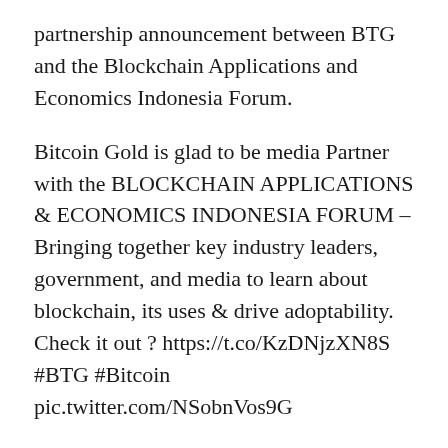partnership announcement between BTG and the Blockchain Applications and Economics Indonesia Forum.
Bitcoin Gold is glad to be media Partner with the BLOCKCHAIN APPLICATIONS & ECONOMICS INDONESIA FORUM – Bringing together key industry leaders, government, and media to learn about blockchain, its uses & drive adoptability. Check it out ? https://t.co/KzDNjzXN8S #BTG #Bitcoin pic.twitter.com/NSobnVos9G
— Bitcoin Gold [BTG] (@bitcoingold) July 28, 2018
Over the week BTG has gained almost 18% from $28.50 and the past month has seen larger gains of